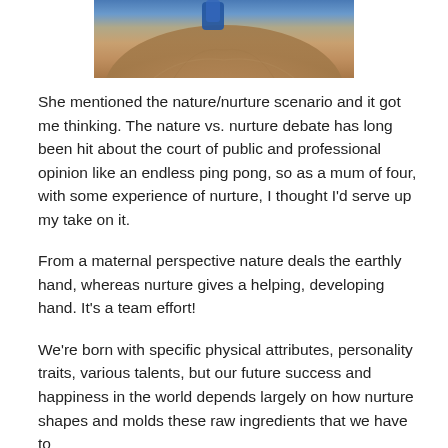[Figure (photo): Close-up photo of a hand holding a small blue object, showing palm and fingers with wrinkled skin texture.]
She mentioned the nature/nurture scenario and it got me thinking. The nature vs. nurture debate has long been hit about the court of public and professional opinion like an endless ping pong, so as a mum of four, with some experience of nurture, I thought I'd serve up my take on it.
From a maternal perspective nature deals the earthly hand, whereas nurture gives a helping, developing hand. It's a team effort!
We're born with specific physical attributes, personality traits, various talents, but our future success and happiness in the world depends largely on how nurture shapes and molds these raw ingredients that we have to